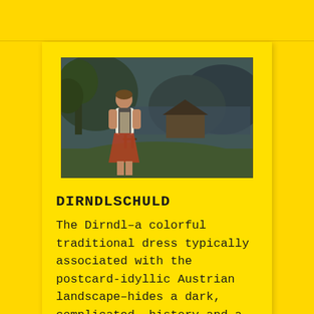[Figure (photo): A person wearing a Dirndl dress standing in an Austrian countryside landscape with green fields, trees, a farmhouse structure, and mountains/lake in the background. A vintage, slightly blurred photograph.]
DIRNDLSCHULD
The Dirndl–a colorful traditional dress typically associated with the postcard-idyllic Austrian landscape–hides a dark, complicated, history and a heavy burden of guilt.